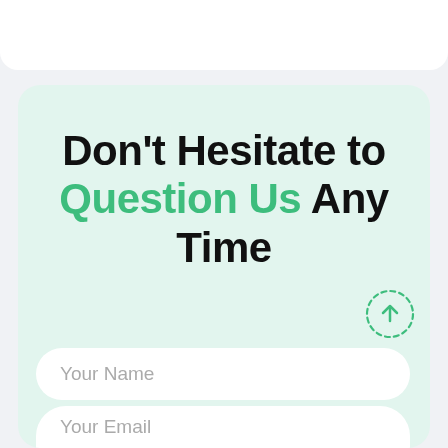Don't Hesitate to Question Us Any Time
[Figure (other): Circular dashed green border button with an upward arrow icon, used as a scroll-to-top button]
Your Name
Your Email